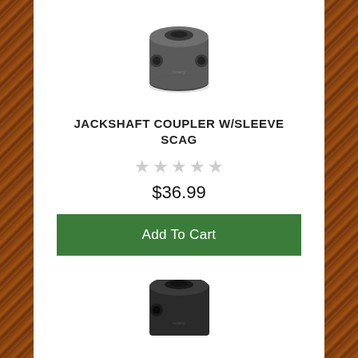[Figure (photo): Close-up photo of a dark grey/gunmetal jackshaft coupler with sleeve, cylindrical mechanical part with holes, top view]
JACKSHAFT COUPLER W/SLEEVE SCAG
★★★★★ (star rating, all empty/grey)
$36.99
Add To Cart
[Figure (photo): Close-up photo of a black jackshaft coupler, similar cylindrical part, partially visible at bottom of page]